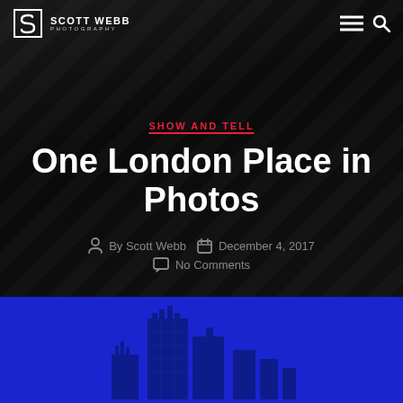Scott Webb Photography
SHOW AND TELL
One London Place in Photos
By Scott Webb   December 4, 2017   No Comments
[Figure (illustration): Dark background with diagonal fabric/metal texture at top, blue section at bottom with building silhouette]